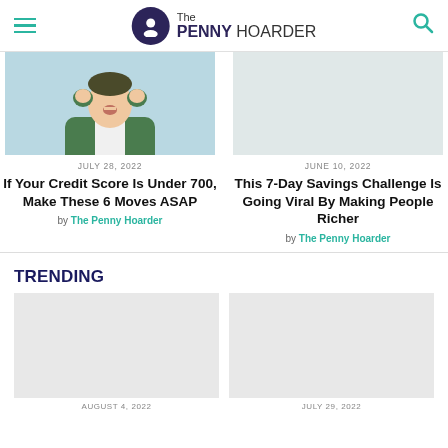The PENNY HOARDER
[Figure (illustration): Illustration of a person in a green jacket with hands raised to face, on a light blue background]
JULY 28, 2022
If Your Credit Score Is Under 700, Make These 6 Moves ASAP
by The Penny Hoarder
JUNE 10, 2022
This 7-Day Savings Challenge Is Going Viral By Making People Richer
by The Penny Hoarder
TRENDING
[Figure (illustration): Trending article thumbnail image placeholder (left)]
[Figure (illustration): Trending article thumbnail image placeholder (right)]
AUGUST 4, 2022
JULY 29, 2022